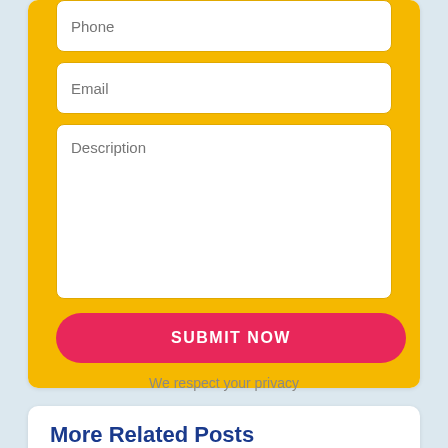Phone
Email
Description
SUBMIT NOW
We respect your privacy
More Related Posts